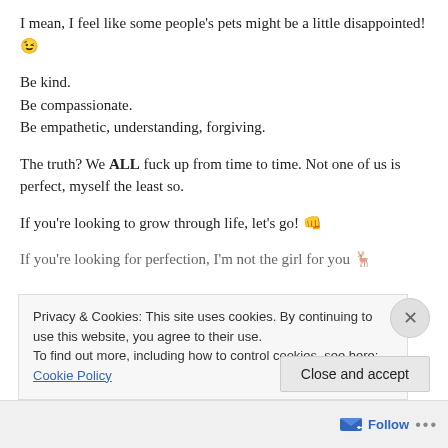I mean, I feel like some people’s pets might be a little disappointed! 😉
Be kind.
Be compassionate.
Be empathetic, understanding, forgiving.
The truth? We ALL fuck up from time to time. Not one of us is perfect, myself the least so.
If you’re looking to grow through life, let’s go! 🤚
If you’re looking for perfection, I’m not the girl for you 🦌
Privacy & Cookies: This site uses cookies. By continuing to use this website, you agree to their use.
To find out more, including how to control cookies, see here: Cookie Policy
Close and accept
Follow